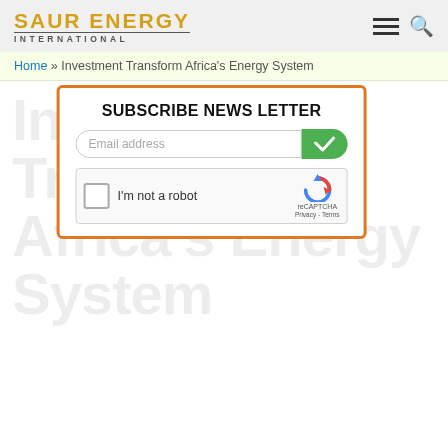SAUR ENERGY INTERNATIONAL
Home » Investment Transform Africa's Energy System
SUBSCRIBE NEWS LETTER
Email address
I'm not a robot
reCAPTCHA
Privacy - Terms
Investment Transform Africa's Energy System
Significant Investment Needed to Transform Africa's Energy System
Updated On Fri, Apr 3rd, 2020
[Figure (photo): Wind turbines on a hillside against a blue-grey sky]